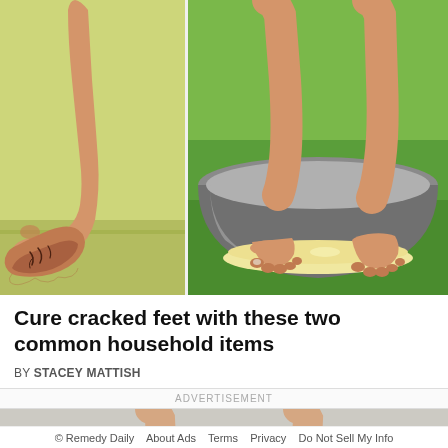[Figure (illustration): Two-panel illustration: left panel shows a side view of a foot/heel with cracks against a yellow-green background; right panel shows two feet standing in a metal bowl with a cream/paste substance against a green background.]
Cure cracked feet with these two common household items
BY STACEY MATTISH
ADVERTISEMENT
[Figure (illustration): Partial advertisement image showing legs/feet.]
© Remedy Daily  About Ads  Terms  Privacy  Do Not Sell My Info